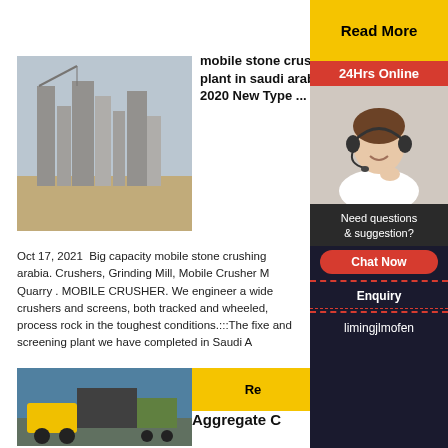[Figure (photo): Industrial crushing plant with tall silos and industrial structures in a desert/dusty environment]
mobile stone crush plant in saudi arabia - 2020 New Type ...
Oct 17, 2021  Big capacity mobile stone crushing arabia. Crushers, Grinding Mill, Mobile Crusher M Quarry . MOBILE CRUSHER. We engineer a wide crushers and screens, both tracked and wheeled, process rock in the toughest conditions.:::The fixe and screening plant we have completed in Saudi A
[Figure (photo): Mobile aggregate crushing equipment with yellow machinery outdoors]
Read More
Aggregate C
[Figure (photo): Customer service representative with headset smiling - sidebar widget]
24Hrs Online
Need questions & suggestion?
Chat Now
Enquiry
limingjlmofen